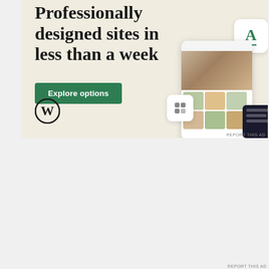[Figure (illustration): WordPress advertisement banner with beige background. Large serif text reads 'Professionally designed sites in less than a week'. Green 'Explore options' button. WordPress logo (W in circle) bottom left. Mockup screenshots of website/food blog on the right.]
[Figure (illustration): Swissquote eForex advertisement banner. Orange to black gradient. Shows 'SWISSQUOTE eForex' brand on left, 'TRY DEMO MetaTrader 4' on right.]
Privacy & Cookies: This site uses cookies. By continuing to use this website, you agree to their use.
To find out more, including how to control cookies, see here: Cookie Policy
Close and accept